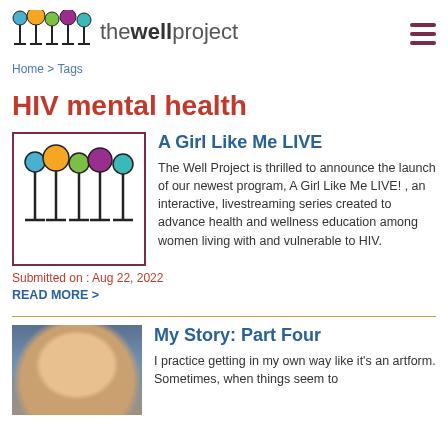thewellproject
Home > Tags
HIV mental health
[Figure (logo): The Well Project logo: five lollipop-style figures with colored circles (blue, orange, green, purple, teal) on stems with cross bases, inside a maroon-bordered box]
A Girl Like Me LIVE
The Well Project is thrilled to announce the launch of our newest program, A Girl Like Me LIVE! , an interactive, livestreaming series created to advance health and wellness education among women living with and vulnerable to HIV.
Submitted on : Aug 22, 2022
READ MORE >
[Figure (photo): Close-up photo of a woman with blonde hair, partial face visible]
My Story: Part Four
I practice getting in my own way like it's an artform. Sometimes, when things seem to